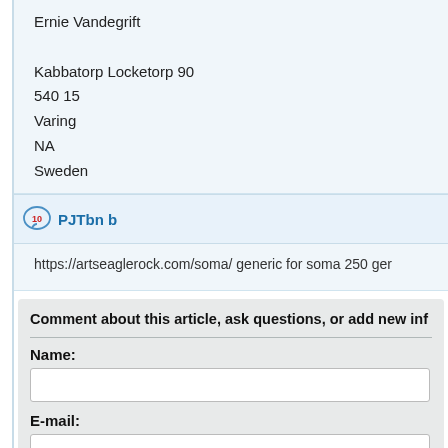Ernie Vandegrift

Kabbatorp Locketorp 90
540 15
Varing
NA
Sweden
10  PJTbn b
https://artseaglerock.com/soma/ generic for soma 250 ger
Comment about this article, ask questions, or add new inf
Name:
E-mail: